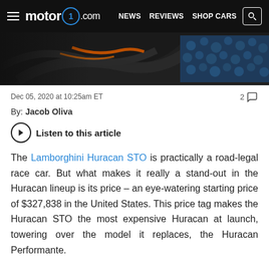motor1.com — NEWS  REVIEWS  SHOP CARS
[Figure (photo): Close-up of Lamborghini Huracan STO car detail showing carbon fiber and blue texture elements]
Dec 05, 2020 at 10:25am ET
2 comments
By: Jacob Oliva
Listen to this article
The Lamborghini Huracan STO is practically a road-legal race car. But what makes it really a stand-out in the Huracan lineup is its price – an eye-watering starting price of $327,838 in the United States. This price tag makes the Huracan STO the most expensive Huracan at launch, towering over the model it replaces, the Huracan Performante.